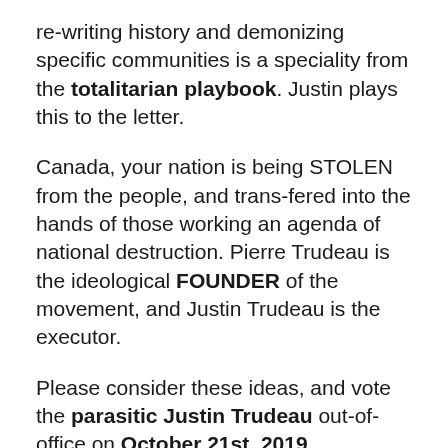re-writing history and demonizing specific communities is a speciality from the totalitarian playbook. Justin plays this to the letter.
Canada, your nation is being STOLEN from the people, and trans-fered into the hands of those working an agenda of national destruction. Pierre Trudeau is the ideological FOUNDER of the movement, and Justin Trudeau is the executor.
Please consider these ideas, and vote the parasitic Justin Trudeau out-of-office on October 21st, 2019.
— B. SALZBERG